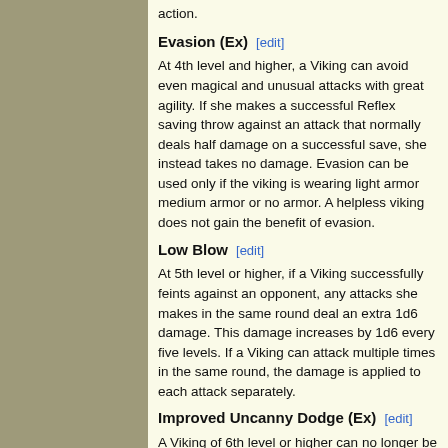action.
Evasion (Ex)  [edit]
At 4th level and higher, a Viking can avoid even magical and unusual attacks with great agility. If she makes a successful Reflex saving throw against an attack that normally deals half damage on a successful save, she instead takes no damage. Evasion can be used only if the viking is wearing light armor medium armor or no armor. A helpless viking does not gain the benefit of evasion.
Low Blow  [edit]
At 5th level or higher, if a Viking successfully feints against an opponent, any attacks she makes in the same round deal an extra 1d6 damage. This damage increases by 1d6 every five levels. If a Viking can attack multiple times in the same round, the damage is applied to each attack separately.
Improved Uncanny Dodge (Ex)  [edit]
A Viking of 6th level or higher can no longer be